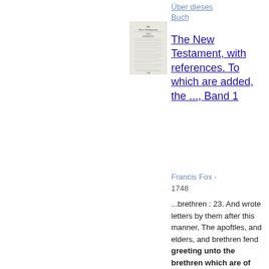Über dieses Buch
[Figure (illustration): Thumbnail image of book title page for 'The New Testament, with references']
The New Testament, with references. To which are added, the ..., Band 1
Francis Fox - 1748
...brethren : 23. And wrote letters by them after this manner, The apoftles, and elders, and brethren fend greeting unto the brethren which are of the Gentiles in Antioch, and Syria, and Cilicia. 24. Forafmuch as